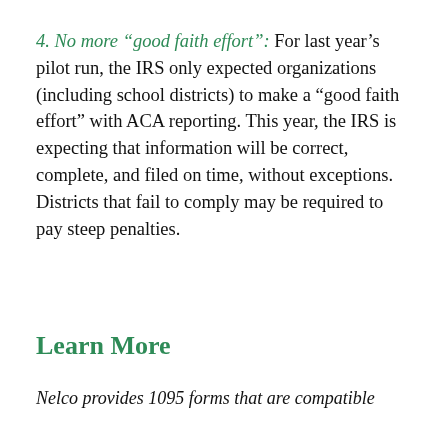4. No more “good faith effort”: For last year’s pilot run, the IRS only expected organizations (including school districts) to make a “good faith effort” with ACA reporting. This year, the IRS is expecting that information will be correct, complete, and filed on time, without exceptions. Districts that fail to comply may be required to pay steep penalties.
Learn More
Nelco provides 1095 forms that are compatible